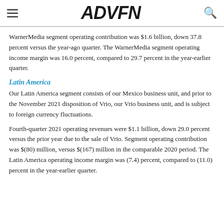ADVFN
WarnerMedia segment operating contribution was $1.6 billion, down 37.8 percent versus the year-ago quarter. The WarnerMedia segment operating income margin was 16.0 percent, compared to 29.7 percent in the year-earlier quarter.
Latin America
Our Latin America segment consists of our Mexico business unit, and prior to the November 2021 disposition of Vrio, our Vrio business unit, and is subject to foreign currency fluctuations.
Fourth-quarter 2021 operating revenues were $1.1 billion, down 29.0 percent versus the prior year due to the sale of Vrio. Segment operating contribution was $(80) million, versus $(167) million in the comparable 2020 period. The Latin America operating income margin was (7.4) percent, compared to (11.0) percent in the year-earlier quarter.